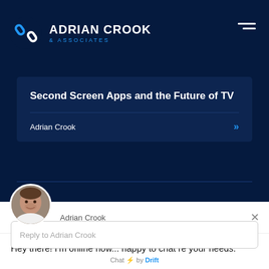ADRIAN CROOK & ASSOCIATES
Second Screen Apps and the Future of TV
Adrian Crook »
[Figure (screenshot): Chat widget with avatar photo of Adrian Crook, name label, close button, message text 'Hey there! I'm online now... happy to chat re your needs.', reply input box, and 'Chat by Drift' footer]
Hey there! I'm online now... happy to chat re your needs.
Reply to Adrian Crook
Chat ⚡ by Drift